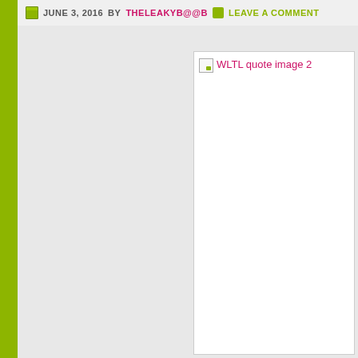JUNE 3, 2016 BY THELEAKYB@@B   LEAVE A COMMENT
[Figure (other): Broken image placeholder labeled 'WLTL quote image 2' shown as a white box with a broken image icon and pink/magenta text]